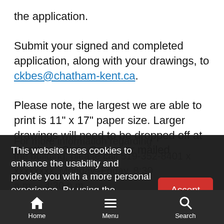the application.
Submit your signed and completed application, along with your drawings, to ckbes@chatham-kent.ca.
Please note, the largest we are able to print is 11" x 17" paper size. Larger drawings will need to be dropped off at Chatham Civic Centre or mailed
This website uses cookies to enhance the usability and provide you with a more personal experience. By using the website, you agree to our use of cookies as explained in our Privacy Policy.
Do I need a Building Permit?
Home  Menu  Search